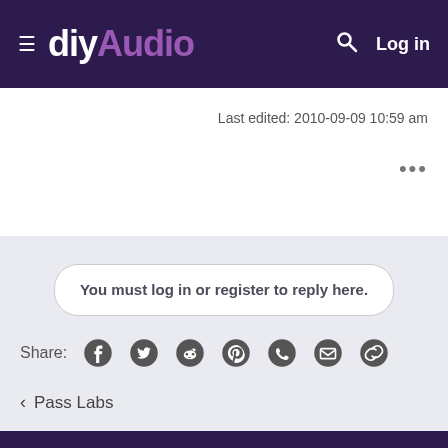diyAudio - Log in
Last edited: 2010-09-09 10:59 am
...
You must log in or register to reply here.
Share:
< Pass Labs
diyAudio Community  diyAudio Store  |  Gallery  Archive  Articles